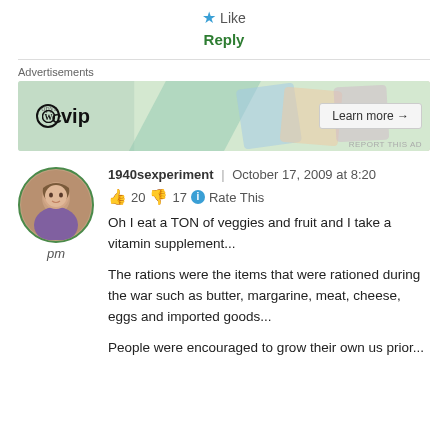★ Like
Reply
[Figure (screenshot): WordPress VIP advertisement banner with logos and Learn more button]
1940sexperiment | October 17, 2009 at 8:20 pm
👍 20 👎 17 ℹ Rate This
Oh I eat a TON of veggies and fruit and I take a vitamin supplement...
The rations were the items that were rationed during the war such as butter, margarine, meat, cheese, eggs and imported goods...
People were encouraged to grow their own us prior...